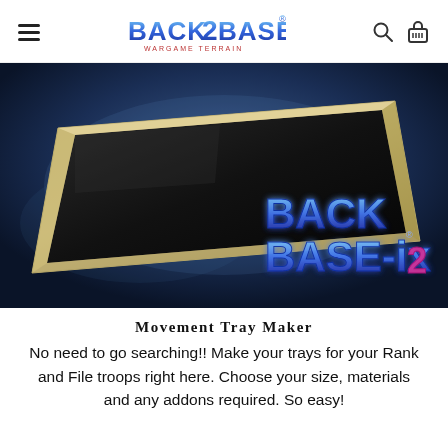Back 2 Base-ix
[Figure (photo): Product photo of a rectangular movement tray with black magnetic surface and tan/beige wooden border frame, shown at an angle on a blue smoky background. The Back 2 Base-ix logo is visible in the lower right corner of the image.]
Movement Tray Maker
No need to go searching!! Make your trays for your Rank and File troops right here. Choose your size, materials and any addons required. So easy!